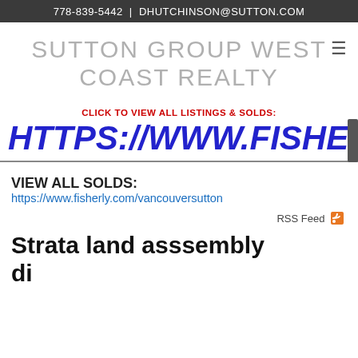778-839-5442 | DHUTCHINSON@SUTTON.COM
SUTTON GROUP WEST COAST REALTY
CLICK TO VIEW ALL LISTINGS & SOLDS:
HTTPS://WWW.FISHERLY.COM/
VIEW ALL SOLDS:
https://www.fisherly.com/vancouversutton
RSS Feed
Strata land asssembly discussion Arbutus Point